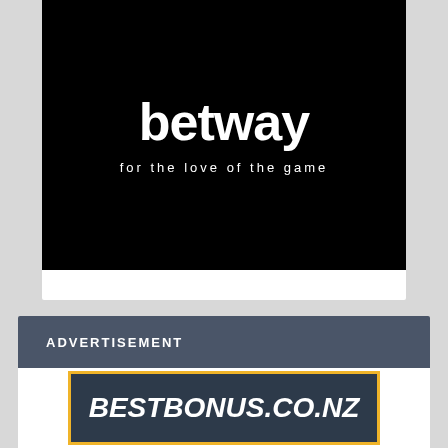[Figure (logo): Betway logo on black background with text 'betway' in large white bold font and tagline 'for the love of the game' in white below]
ADVERTISEMENT
[Figure (logo): BestBonus.co.nz logo in white bold italic text on dark navy background with yellow/gold border]